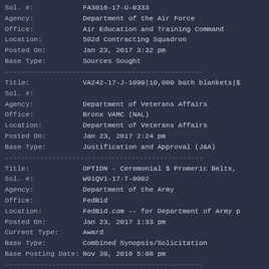Sol. #: FA3016-17-U-0333
Agency: Department of the Air Force
Office: Air Education and Training Command
Location: 502d Contracting Squadron
Posted On: Jan 23, 2017 3:32 pm
Base Type: Sources Sought
Title: VA242-17-J-1099|10,000 bath blankets|$
Sol. #:
Agency: Department of Veterans Affairs
Office: Bronx VAMC (NAL)
Location: Department of Veterans Affairs
Posted On: Jan 23, 2017 2:24 pm
Base Type: Justification and Approval (J&A)
Title: OPTION - Ceremonial $ Promeric Belts,
Sol. #: W91QV1-17-T-0002
Agency: Department of the Army
Office: FedBid
Location: FedBid.com -- for Department of Army p
Posted On: Jan 23, 2017 1:33 pm
Current Type: Award
Base Type: Combined Synopsis/Solicitation
Base Posting Date: Nov 30, 2016 5:08 pm
Title: INSECT NET,HEAD
Sol. #: SPE1C117T0739